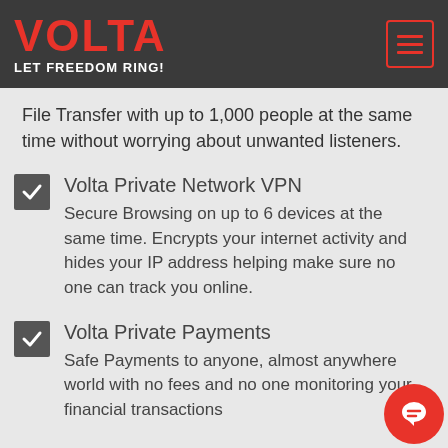VOLTA — LET FREEDOM RING!
File Transfer with up to 1,000 people at the same time without worrying about unwanted listeners.
Volta Private Network VPN — Secure Browsing on up to 6 devices at the same time. Encrypts your internet activity and hides your IP address helping make sure no one can track you online.
Volta Private Payments — Safe Payments to anyone, almost anywhere world with no fees and no one monitoring your financial transactions